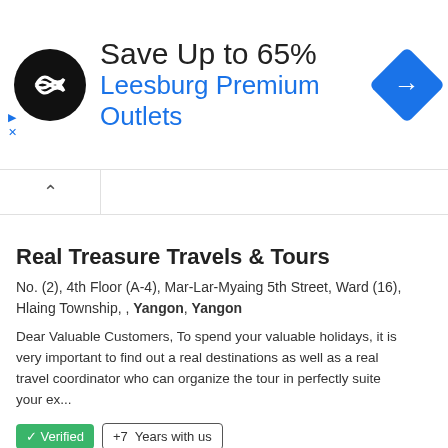[Figure (screenshot): Advertisement banner for Leesburg Premium Outlets with circular black logo, 'Save Up to 65%' text, blue outlet name, and blue diamond navigation icon]
Real Treasure Travels & Tours
No. (2), 4th Floor (A-4), Mar-Lar-Myaing 5th Street, Ward (16), Hlaing Township, , Yangon, Yangon
Dear Valuable Customers, To spend your valuable holidays, it is very important to find out a real destinations as well as a real travel coordinator who can organize the tour in perfectly suite your ex...
✓ Verified    +7  Years with us
Phone  E-mail  Map  Website  4 Photos  3 Products
Yadanathiha Travels & Tours